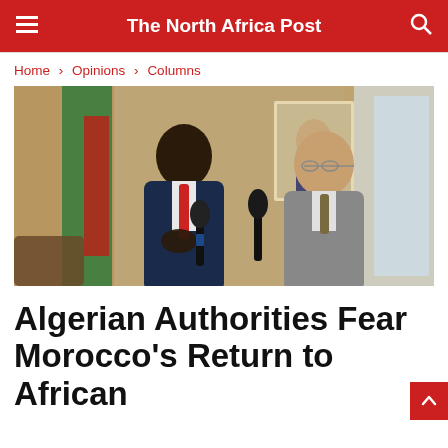The North Africa Post
Home > Opinions > Columns
[Figure (photo): Two men in suits standing at microphones in an official room. An Algerian flag and a framed portrait of a person are visible in the background. The man on the left is Black and wearing a navy suit with a red tie; the man on the right is older, wearing a grey suit.]
Algerian Authorities Fear Morocco's Return to African